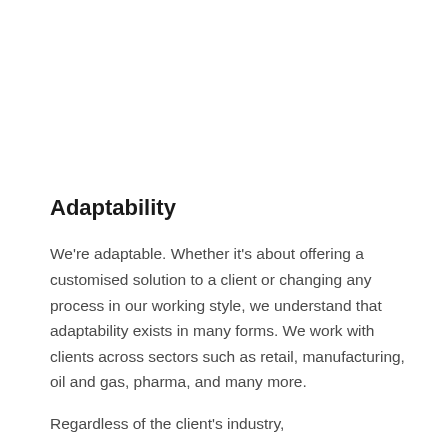Adaptability
We're adaptable. Whether it's about offering a customised solution to a client or changing any process in our working style, we understand that adaptability exists in many forms. We work with clients across sectors such as retail, manufacturing, oil and gas, pharma, and many more.
Regardless of the client's industry,